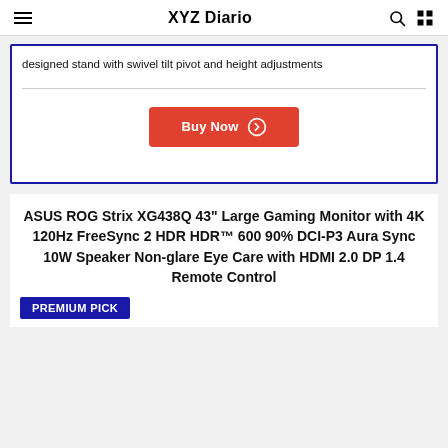XYZ Diario
designed stand with swivel tilt pivot and height adjustments
[Figure (other): Buy Now button with arrow icon in red/orange color]
ASUS ROG Strix XG438Q 43" Large Gaming Monitor with 4K 120Hz FreeSync 2 HDR HDR™ 600 90% DCI-P3 Aura Sync 10W Speaker Non-glare Eye Care with HDMI 2.0 DP 1.4 Remote Control
PREMIUM PICK